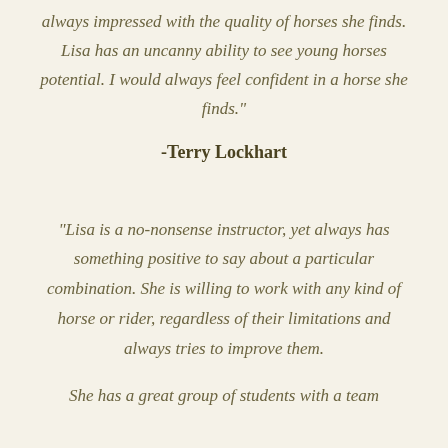always impressed with the quality of horses she finds. Lisa has an uncanny ability to see young horses potential. I would always feel confident in a horse she finds."
-Terry Lockhart
"Lisa is a no-nonsense instructor, yet always has something positive to say about a particular combination. She is willing to work with any kind of horse or rider, regardless of their limitations and always tries to improve them.
She has a great group of students with a team